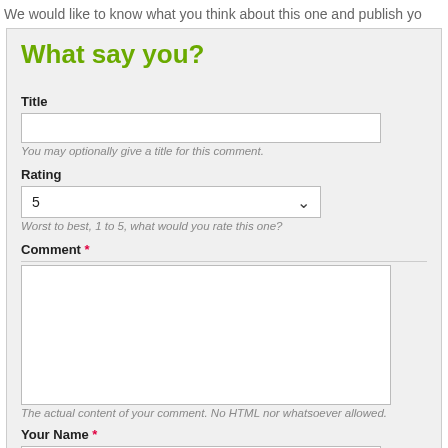We would like to know what you think about this one and publish yo
What say you?
Title
You may optionally give a title for this comment.
Rating
Worst to best, 1 to 5, what would you rate this one?
Comment *
The actual content of your comment. No HTML nor whatsoever allowed.
Your Name *
The author of this comment.